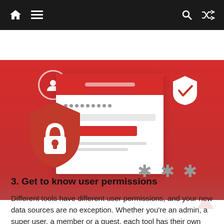[Figure (illustration): Website navigation bar with home icon, hamburger menu, search icon, and shuffle/random icon on dark background]
[Figure (illustration): Red background security illustration showing a login form card with password dots and red button, a red shield with padlock icon on the left, a user avatar circle, a white checkmark shield on the right, and three asterisks in grey]
3. Get to know user permissions
Different tools have different user permissions, and your new data sources are no exception. Whether you're an admin, a super user, a member or a guest, each tool has their own take on user titles and the permissions they're granted.